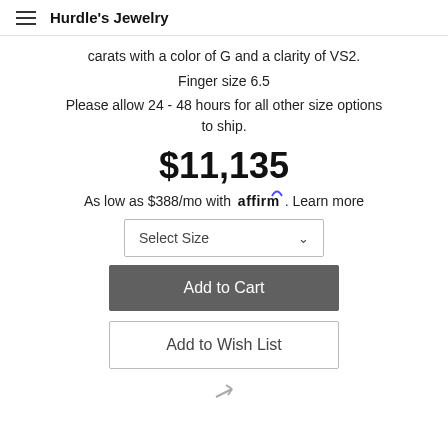Hurdle's Jewelry
carats with a color of G and a clarity of VS2.
Finger size 6.5
Please allow 24 - 48 hours for all other size options to ship.
$11,135
As low as $388/mo with affirm. Learn more
Select Size
Add to Cart
Add to Wish List